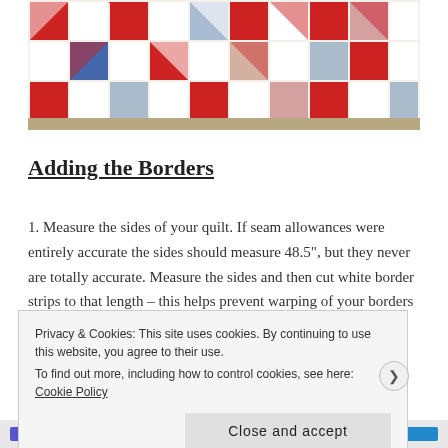[Figure (photo): Partial view of a quilt laid on a floor, showing a patchwork pattern with red, blue, and white fabric squares and triangles arranged in a star/pinwheel design.]
Adding the Borders
1. Measure the sides of your quilt. If seam allowances were entirely accurate the sides should measure 48.5", but they never are totally accurate. Measure the sides and then cut white border strips to that length – this helps prevent warping of your borders that can
Privacy & Cookies: This site uses cookies. By continuing to use this website, you agree to their use.
To find out more, including how to control cookies, see here: Cookie Policy
Close and accept